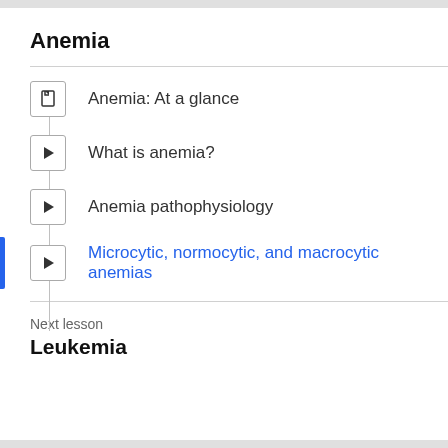Anemia
Anemia: At a glance
What is anemia?
Anemia pathophysiology
Microcytic, normocytic, and macrocytic anemias
Next lesson
Leukemia